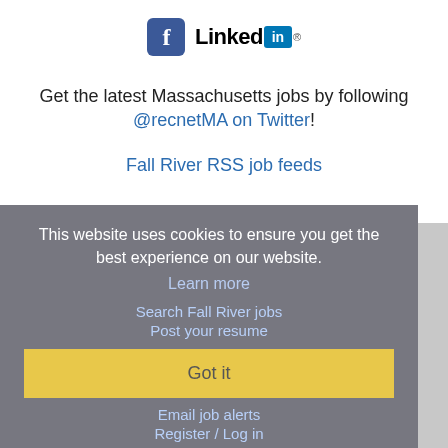[Figure (logo): Facebook and LinkedIn social media icons/logos]
Get the latest Massachusetts jobs by following @recnetMA on Twitter!
Fall River RSS job feeds
This website uses cookies to ensure you get the best experience on our website.
Learn more
Search Fall River jobs
Post your resume
Email job alerts
Register / Log in
Got it